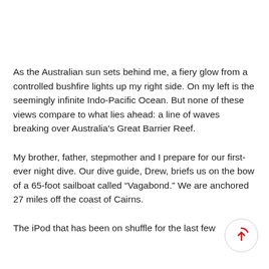As the Australian sun sets behind me, a fiery glow from a controlled bushfire lights up my right side. On my left is the seemingly infinite Indo-Pacific Ocean. But none of these views compare to what lies ahead: a line of waves breaking over Australia's Great Barrier Reef.
My brother, father, stepmother and I prepare for our first-ever night dive. Our dive guide, Drew, briefs us on the bow of a 65-foot sailboat called “Vagabond.” We are anchored 27 miles off the coast of Cairns.
The iPod that has been on shuffle for the last few